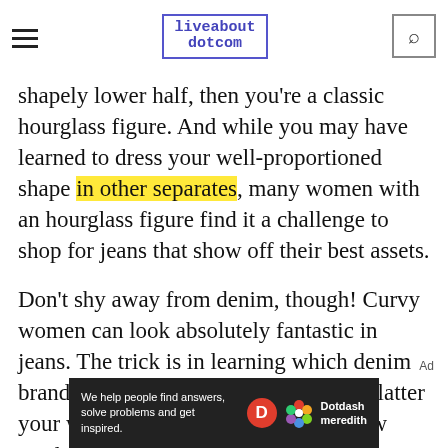liveabout dotcom
shapely lower half, then you're a classic hourglass figure. And while you may have learned to dress your well-proportioned shape in other separates, many women with an hourglass figure find it a challenge to shop for jeans that show off their best assets.
Don't shy away from denim, though! Curvy women can look absolutely fantastic in jeans. The trick is in learning which denim brands and styles are designed best to flatter your womanly shape. Many brands now produce curvy fit jeans, with features
[Figure (other): Dotdash Meredith advertisement banner at the bottom of the page reading 'We help people find answers, solve problems and get inspired.']